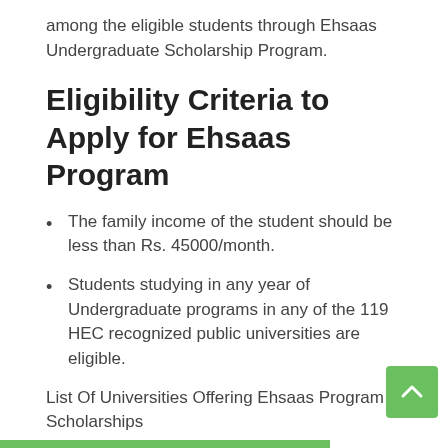among the eligible students through Ehsaas Undergraduate Scholarship Program.
Eligibility Criteria to Apply for Ehsaas Program
The family income of the student should be less than Rs. 45000/month.
Students studying in any year of Undergraduate programs in any of the 119 HEC recognized public universities are eligible.
List Of Universities Offering Ehsaas Program Scholarships
The undergraduate scholarships are currently offered at 119 Public Universities around the country. CLICK HERE to check the list of these Universities.